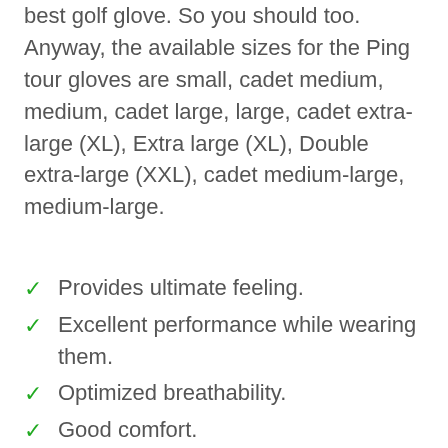best golf glove. So you should too. Anyway, the available sizes for the Ping tour gloves are small, cadet medium, medium, cadet large, large, cadet extra-large (XL), Extra large (XL), Double extra-large (XXL), cadet medium-large, medium-large.
Provides ultimate feeling.
Excellent performance while wearing them.
Optimized breathability.
Good comfort.
Amazing feel.